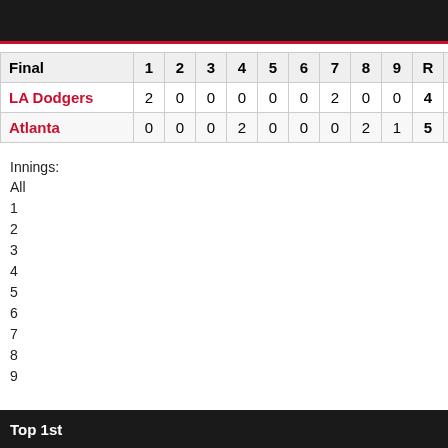| Final | 1 | 2 | 3 | 4 | 5 | 6 | 7 | 8 | 9 | R | H | E |
| --- | --- | --- | --- | --- | --- | --- | --- | --- | --- | --- | --- | --- |
| LA Dodgers | 2 | 0 | 0 | 0 | 0 | 0 | 2 | 0 | 0 | 4 | 4 | 0 |
| Atlanta | 0 | 0 | 0 | 2 | 0 | 0 | 0 | 2 | 1 | 5 | 10 | 0 |
Innings:
All
1
2
3
4
5
6
7
8
9
Top 1st